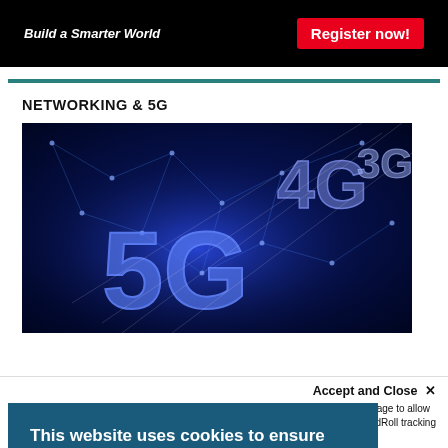[Figure (infographic): Black advertisement banner with 'Build a Smarter World' tagline in white italic text and a red 'Register now!' button on the right]
NETWORKING & 5G
[Figure (photo): Dark blue digital network background with large glowing '5G' text in blue/purple and '4G', '3G' text visible, representing wireless networking generations with connected nodes and light rays]
This website uses cookies to ensure you get the best experience on our website. Learn More
Accept and Close ✕
Your browser settings do not allow cross-site tracking for advertising. Click on this page to allow AdRoll to use cross-site tracking to tailor ads to you. Learn more or opt out of this AdRoll tracking by clicking here. This message only appears once.